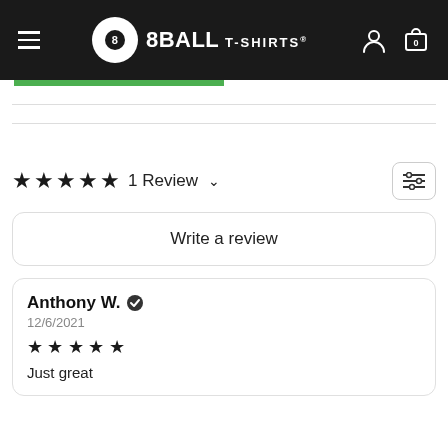8BALL T-SHIRTS navigation bar with hamburger menu, logo, user icon, and cart (0)
★★★★★ 1 Review ∨
Write a review
Anthony W. ✓
12/6/2021
★★★★★
Just great